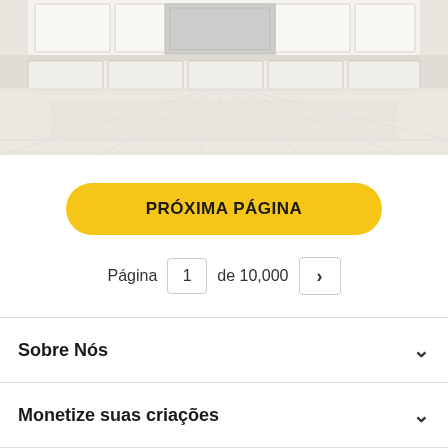[Figure (photo): Kitchen interior with white cabinets and light tile floor, partially visible at the top of the page.]
PRÓXIMA PÁGINA
Página 1 de 10,000 >
Sobre Nós
Monetize suas criações
Serviços